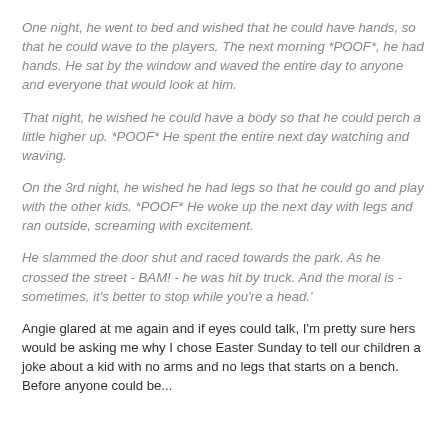One night, he went to bed and wished that he could have hands, so that he could wave to the players. The next morning *POOF*, he had hands. He sat by the window and waved the entire day to anyone and everyone that would look at him.
That night, he wished he could have a body so that he could perch a little higher up. *POOF* He spent the entire next day watching and waving.
On the 3rd night, he wished he had legs so that he could go and play with the other kids. *POOF* He woke up the next day with legs and ran outside, screaming with excitement.
He slammed the door shut and raced towards the park. As he crossed the street - BAM! - he was hit by truck. And the moral is - sometimes, it's better to stop while you're a head.'
Angie glared at me again and if eyes could talk, I'm pretty sure hers would be asking me why I chose Easter Sunday to tell our children a joke about a kid with no arms and no legs that starts on a bench. Before anyone could be...